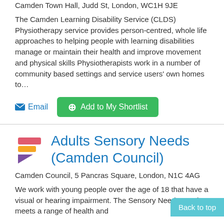Camden Town Hall, Judd St, London, WC1H 9JE
The Camden Learning Disability Service (CLDS) Physiotherapy service provides person-centred, whole life approaches to helping people with learning disabilities manage or maintain their health and improve movement and physical skills Physiotherapists work in a number of community based settings and service users' own homes to…
Email  Add to My Shortlist
Adults Sensory Needs (Camden Council)
Camden Council, 5 Pancras Square, London, N1C 4AG
We work with young people over the age of 18 that have a visual or hearing impairment. The Sensory Needs Service meets a range of health and
Back to top